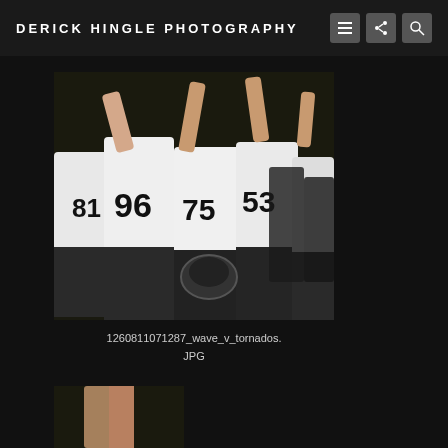DERICK HINGLE PHOTOGRAPHY
[Figure (photo): Football players in white jerseys with numbers 96, 75, 53, 81 celebrating on the sideline at night, arms raised]
1260811071287_wave_v_tornados.JPG
[Figure (photo): Partial view of another football-related photo at the bottom of the page]